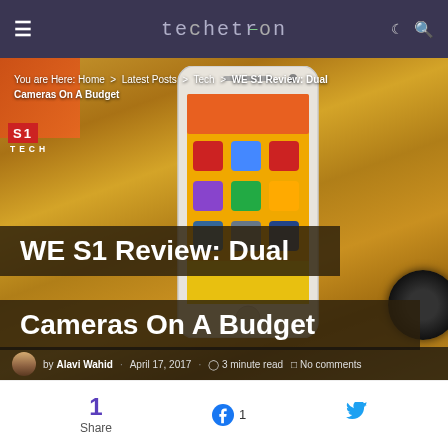techetron
[Figure (photo): Smartphone (WE S1) placed on a wooden surface, showing a colorful home screen with app icons. Background is a wooden table. A camera lens is partially visible at the bottom right. The image serves as the hero image for an article about the WE S1 phone review.]
You are Here: Home > Latest Posts > Tech > WE S1 Review: Dual Cameras On A Budget
WE S1 Review: Dual Cameras On A Budget
by Alavi Wahid · April 17, 2017 · 3 minute read · No comments
1 Share